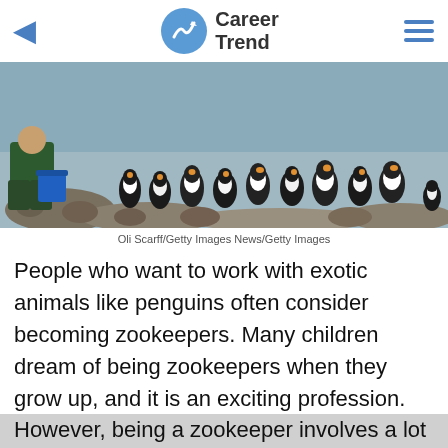Career Trend
[Figure (photo): A zookeeper crouching on a rocky beach feeding a group of penguins from a blue bucket, with water in the background.]
Oli Scarff/Getty Images News/Getty Images
People who want to work with exotic animals like penguins often consider becoming zookeepers. Many children dream of being zookeepers when they grow up, and it is an exciting profession. However, being a zookeeper involves a lot of hard work. Keepers must see to the feeding and habitat maintenance of all animals, and be observant enough to notice when they are hurt or sick. They